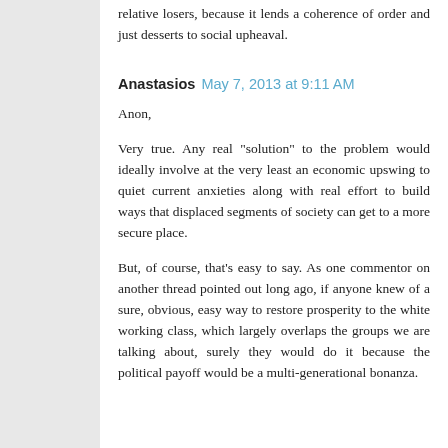relative losers, because it lends a coherence of order and just desserts to social upheaval.
Anastasios  May 7, 2013 at 9:11 AM
Anon,
Very true. Any real "solution" to the problem would ideally involve at the very least an economic upswing to quiet current anxieties along with real effort to build ways that displaced segments of society can get to a more secure place.
But, of course, that's easy to say. As one commentor on another thread pointed out long ago, if anyone knew of a sure, obvious, easy way to restore prosperity to the white working class, which largely overlaps the groups we are talking about, surely they would do it because the political payoff would be a multi-generational bonanza.